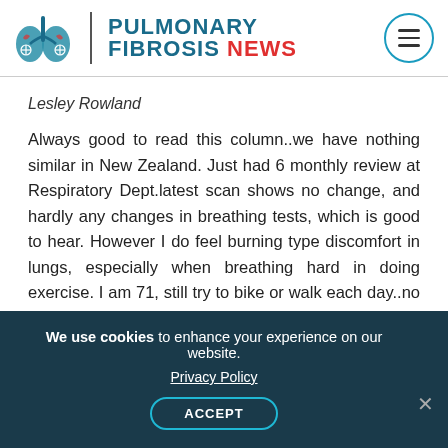PULMONARY FIBROSIS NEWS
Lesley Rowland
Always good to read this column..we have nothing similar in New Zealand. Just had 6 monthly review at Respiratory Dept.latest scan shows no change, and hardly any changes in breathing tests, which is good to hear. However I do feel burning type discomfort in lungs, especially when breathing hard in doing exercise. I am 71, still try to bike or walk each day..no meds
We use cookies to enhance your experience on our website. Privacy Policy ACCEPT